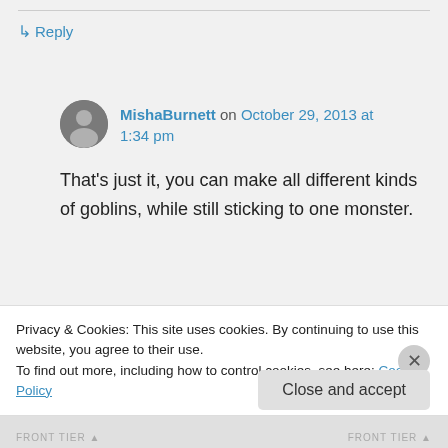↳ Reply
MishaBurnett on October 29, 2013 at 1:34 pm
That's just it, you can make all different kinds of goblins, while still sticking to one monster.
Privacy & Cookies: This site uses cookies. By continuing to use this website, you agree to their use. To find out more, including how to control cookies, see here: Cookie Policy
Close and accept